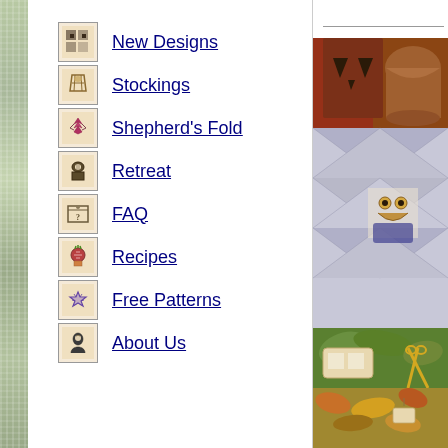New Designs
Stockings
Shepherd's Fold
Retreat
FAQ
Recipes
Free Patterns
About Us
[Figure (photo): Halloween-themed cross stitch scene with a jack-o-lantern, clay pot, quilted bag with owl design, small decorative pillows, scissors, and autumn leaves]